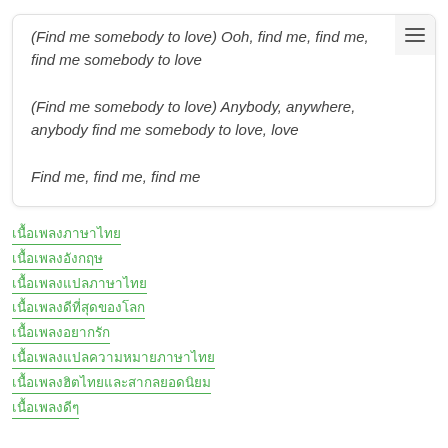(Find me somebody to love) Ooh, find me, find me, find me somebody to love
(Find me somebody to love) Anybody, anywhere, anybody find me somebody to love, love
Find me, find me, find me
เนื้อเพลงภาษาไทย
เนื้อเพลงอังกฤษ
เนื้อเพลงแปลภาษาไทย
เนื้อเพลงดีที่สุดของโลก
เนื้อเพลงอยากรัก
เนื้อเพลงแปลความหมายภาษาไทย
เนื้อเพลงฮิตไทยและสากลยอดนิยม
เนื้อเพลงดีๆ